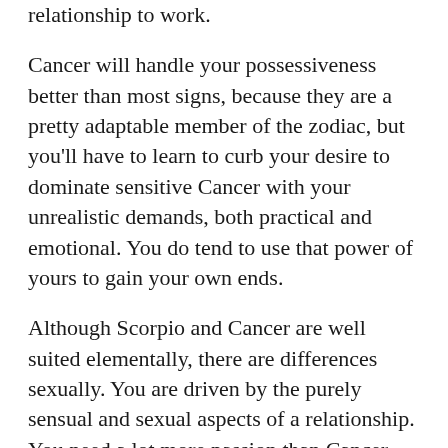relationship to work.
Cancer will handle your possessiveness better than most signs, because they are a pretty adaptable member of the zodiac, but you'll have to learn to curb your desire to dominate sensitive Cancer with your unrealistic demands, both practical and emotional. You do tend to use that power of yours to gain your own ends.
Although Scorpio and Cancer are well suited elementally, there are differences sexually. You are driven by the purely sensual and sexual aspects of a relationship. You need a lot more passion than Cancer. Cancer needs love and bonding before they can express unbridled passion.
Cancer will find you a sort of 'cause' they can dedicate themselves to emotionally. Although your strength is off-putting to some signs, Cancer tends to be able to connect directly with your soul. This